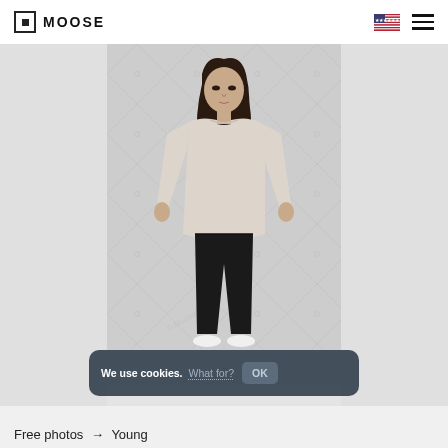MOOSE
[Figure (photo): Young woman with long dark hair, wearing a light grey long-sleeve top and black skinny jeans, standing facing forward with head slightly down, against a light grey quilted background with diamond watermark pattern.]
We use cookies. What for? OK
Free photos → Young